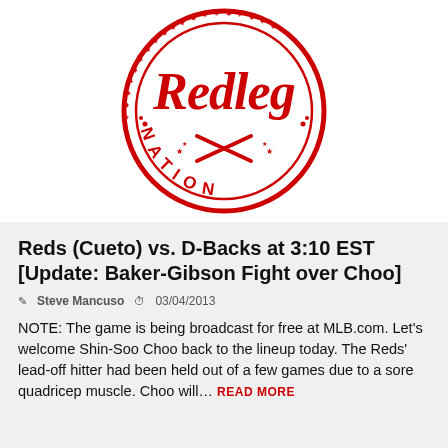[Figure (logo): Redleg Nation logo — red circular stamp with script 'Redleg' text, crossed baseball bats, stars, and 'NATION' text around the bottom arc]
Reds (Cueto) vs. D-Backs at 3:10 EST [Update: Baker-Gibson Fight over Choo]
Steve Mancuso   03/04/2013
NOTE: The game is being broadcast for free at MLB.com. Let's welcome Shin-Soo Choo back to the lineup today. The Reds' lead-off hitter had been held out of a few games due to a sore quadricep muscle. Choo will… READ MORE